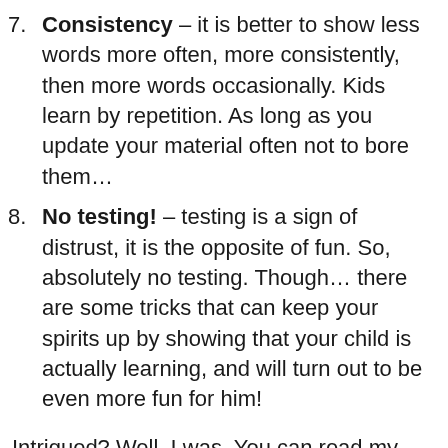7. Consistency – it is better to show less words more often, more consistently, then more words occasionally. Kids learn by repetition. As long as you update your material often not to bore them…
8. No testing! – testing is a sign of distrust, it is the opposite of fun. So, absolutely no testing. Though… there are some tricks that can keep your spirits up by showing that your child is actually learning, and will turn out to be even more fun for him!
Intrigued? Well, I was. You can read my personal opinion on why teach your children to read. Once you are done with